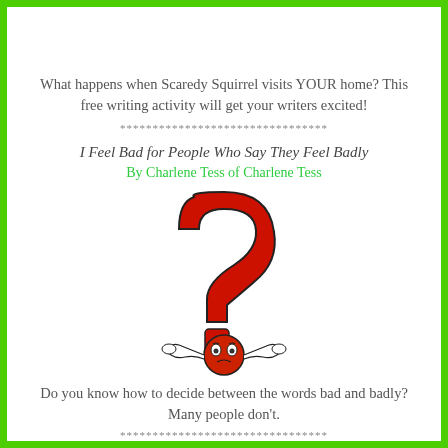What happens when Scaredy Squirrel visits YOUR home? This free writing activity will get your writers excited!
********************************
I Feel Bad for People Who Say They Feel Badly
By Charlene Tess of Charlene Tess
[Figure (illustration): A cartoon red question mark character sitting on top of a small red round character with eyes and arms spread out in a shrugging pose]
Do you know how to decide between the words bad and badly? Many people don't.
********************************